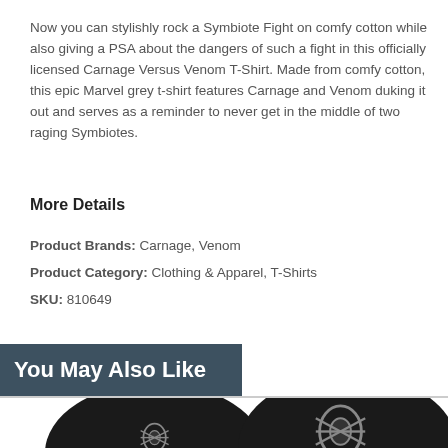Now you can stylishly rock a Symbiote Fight on comfy cotton while also giving a PSA about the dangers of such a fight in this officially licensed Carnage Versus Venom T-Shirt. Made from comfy cotton, this epic Marvel grey t-shirt features Carnage and Venom duking it out and serves as a reminder to never get in the middle of two raging Symbiotes.
More Details
Product Brands: Carnage, Venom
Product Category: Clothing & Apparel, T-Shirts
SKU: 810649
You May Also Like
[Figure (photo): Two black Spider-Man baseball caps with silver spider logo emblem, shown partially cropped at bottom of page]